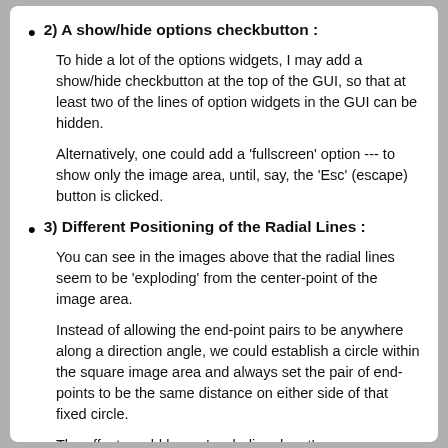2) A show/hide options checkbutton :
To hide a lot of the options widgets, I may add a show/hide checkbutton at the top of the GUI, so that at least two of the lines of option widgets in the GUI can be hidden.
Alternatively, one could add a 'fullscreen' option --- to show only the image area, until, say, the 'Esc' (escape) button is clicked.
3) Different Positioning of the Radial Lines :
You can see in the images above that the radial lines seem to be 'exploding' from the center-point of the image area.
Instead of allowing the end-point pairs to be anywhere along a direction angle, we could establish a circle within the square image area and always set the pair of end-points to be the same distance on either side of that fixed circle.
The effect would be an 'exploding donut'